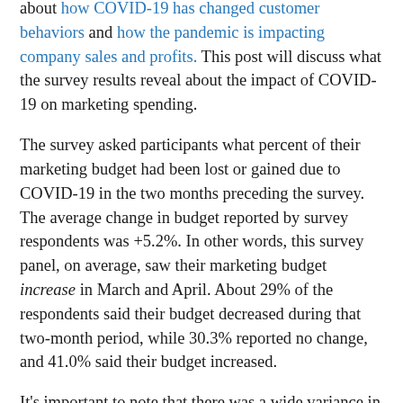about how COVID-19 has changed customer behaviors and how the pandemic is impacting company sales and profits. This post will discuss what the survey results reveal about the impact of COVID-19 on marketing spending.
The survey asked participants what percent of their marketing budget had been lost or gained due to COVID-19 in the two months preceding the survey. The average change in budget reported by survey respondents was +5.2%. In other words, this survey panel, on average, saw their marketing budget increase in March and April. About 29% of the respondents said their budget decreased during that two-month period, while 30.3% reported no change, and 41.0% said their budget increased.
It's important to note that there was a wide variance in reported budget changes. About 28% of the respondents reported a budget increase of 20% or more, while 21.2% reported a budget loss of 20% or more. There was even a significant increase among B2B companies. Research shows...